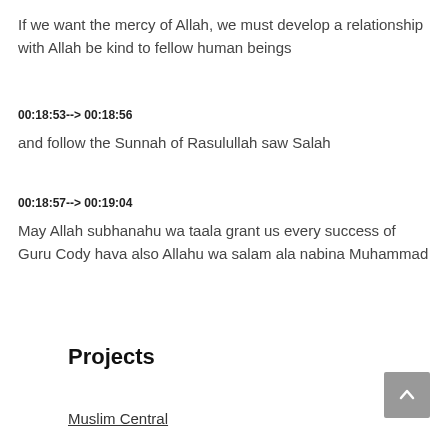If we want the mercy of Allah, we must develop a relationship with Allah be kind to fellow human beings
00:18:53--> 00:18:56
and follow the Sunnah of Rasulullah saw Salah
00:18:57--> 00:19:04
May Allah subhanahu wa taala grant us every success of Guru Cody hava also Allahu wa salam ala nabina Muhammad
Projects
Muslim Central